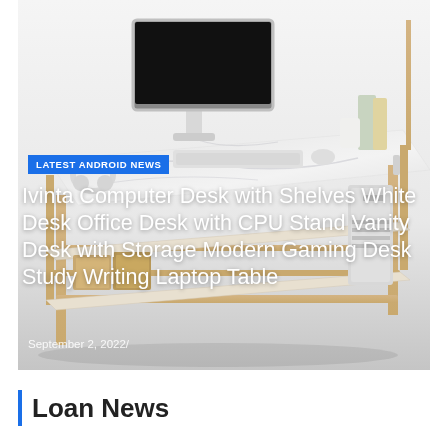[Figure (photo): Product photo of a Ivinta computer desk with shelves, marble white top surface, gold metal frame legs, with desktop computer monitor, keyboard, mouse, headphones, CPU tower, and storage boxes on lower shelves]
LATEST ANDROID NEWS
Ivinta Computer Desk with Shelves White Desk Office Desk with CPU Stand Vanity Desk with Storage Modern Gaming Desk Study Writing Laptop Table
September 2, 2022/
Loan News